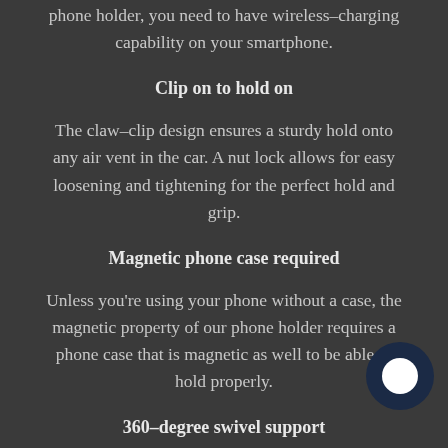phone holder, you need to have wireless-charging capability on your smartphone.
Clip on to hold on
The claw-clip design ensures a sturdy hold onto any air vent in the car. A nut lock allows for easy loosening and tightening for the perfect hold and grip.
Magnetic phone case required
Unless you’re using your phone without a case, the magnetic property of our phone holder requires a phone case that is magnetic as well to be able to hold properly.
360-degree swivel support
Whether you view your navigation on landscape or on portrait, the flexibility of this magical phone holder/charger allows customizability for